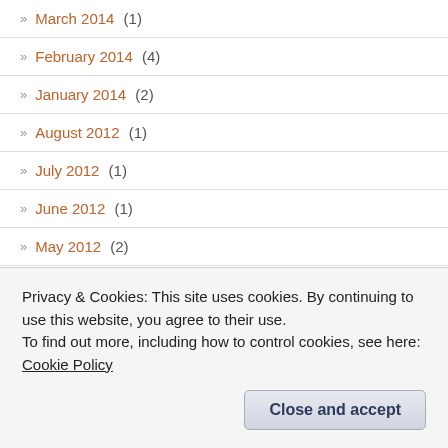» March 2014 (1)
» February 2014 (4)
» January 2014 (2)
» August 2012 (1)
» July 2012 (1)
» June 2012 (1)
» May 2012 (2)
» March 2012 (2)
» August 2011 (1)
» July 2011 (1)
Privacy & Cookies: This site uses cookies. By continuing to use this website, you agree to their use. To find out more, including how to control cookies, see here: Cookie Policy
Close and accept